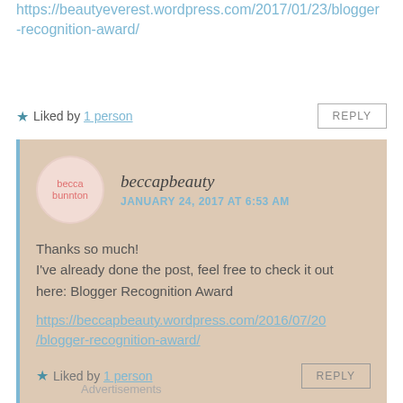https://beautyeverest.wordpress.com/2017/01/23/blogger-recognition-award/
★ Liked by 1 person   REPLY
beccapbeauty
JANUARY 24, 2017 AT 6:53 AM
Thanks so much!
I've already done the post, feel free to check it out here: Blogger Recognition Award
https://beccapbeauty.wordpress.com/2016/07/20/blogger-recognition-award/
★ Liked by 1 person   REPLY
Advertisements